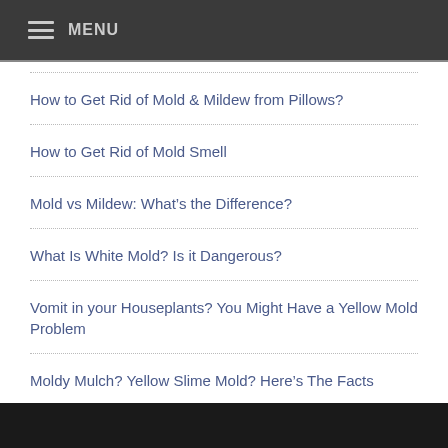MENU
How to Get Rid of Mold & Mildew from Pillows?
How to Get Rid of Mold Smell
Mold vs Mildew: What’s the Difference?
What Is White Mold? Is it Dangerous?
Vomit in your Houseplants? You Might Have a Yellow Mold Problem
Moldy Mulch? Yellow Slime Mold? Here’s The Facts
Save Your Clothes From Pink Mold